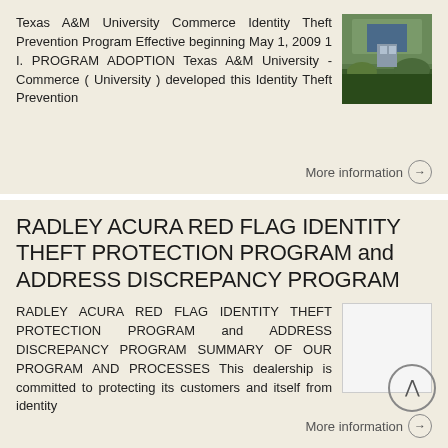Texas A&M University Commerce Identity Theft Prevention Program Effective beginning May 1, 2009 1 I. PROGRAM ADOPTION Texas A&M University - Commerce ( University ) developed this Identity Theft Prevention
[Figure (photo): Photo of a university building with people gathered outside, green foliage visible]
More information →
RADLEY ACURA RED FLAG IDENTITY THEFT PROTECTION PROGRAM and ADDRESS DISCREPANCY PROGRAM
RADLEY ACURA RED FLAG IDENTITY THEFT PROTECTION PROGRAM and ADDRESS DISCREPANCY PROGRAM SUMMARY OF OUR PROGRAM AND PROCESSES This dealership is committed to protecting its customers and itself from identity
[Figure (photo): Thumbnail of a text document with lines of text]
More information →